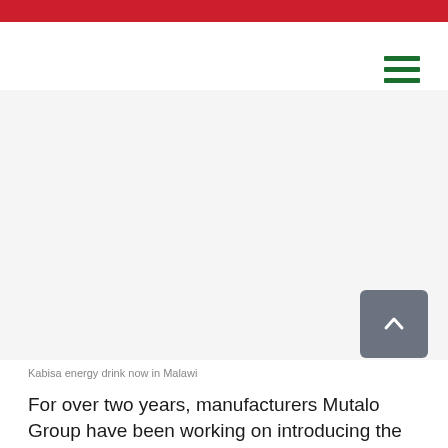[Figure (photo): Large image area showing Kabisa energy drink, mostly white/blank placeholder]
Kabisa energy drink now in Malawi
For over two years, manufacturers Mutalo Group have been working on introducing the tropical African-oriented drink in Malawi.